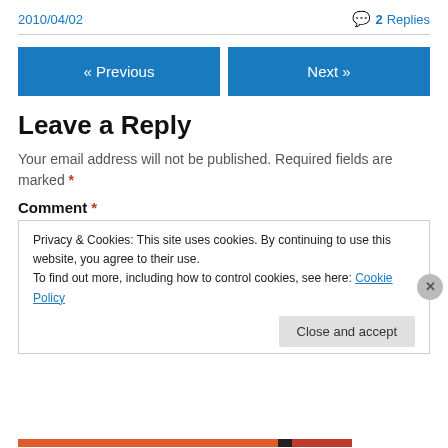2010/04/02
💬 2 Replies
« Previous
Next »
Leave a Reply
Your email address will not be published. Required fields are marked *
Comment *
Privacy & Cookies: This site uses cookies. By continuing to use this website, you agree to their use.
To find out more, including how to control cookies, see here: Cookie Policy
Close and accept